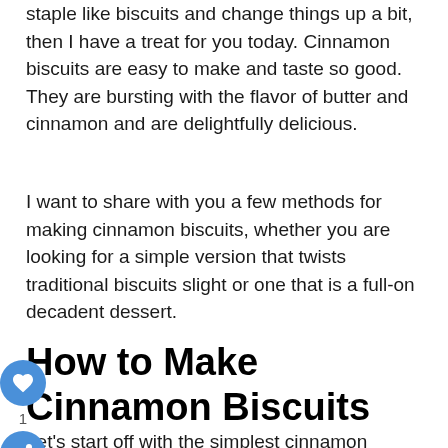staple like biscuits and change things up a bit, then I have a treat for you today. Cinnamon biscuits are easy to make and taste so good. They are bursting with the flavor of butter and cinnamon and are delightfully delicious.
I want to share with you a few methods for making cinnamon biscuits, whether you are looking for a simple version that twists traditional biscuits slight or one that is a full-on decadent dessert.
How to Make Cinnamon Biscuits
Let's start off with the simplest cinnamon biscuits